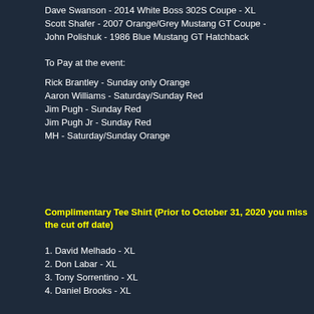Dave Swanson - 2014 White Boss 302S Coupe - XL
Scott Shafer - 2007 Orange/Grey Mustang GT Coupe -
John Polishuk - 1986 Blue Mustang GT Hatchback
To Pay at the event:
Rick Brantley - Sunday only Orange
Aaron Williams - Saturday/Sunday Red
Jim Pugh - Sunday Red
Jim Pugh Jr - Sunday Red
MH - Saturday/Sunday Orange
Complimentary Tee Shirt (Prior to October 31, 2020 you miss the cut off date)
1. David Melhado - XL
2. Don Labar - XL
3. Tony Sorrentino - XL
4. Daniel Brooks - XL